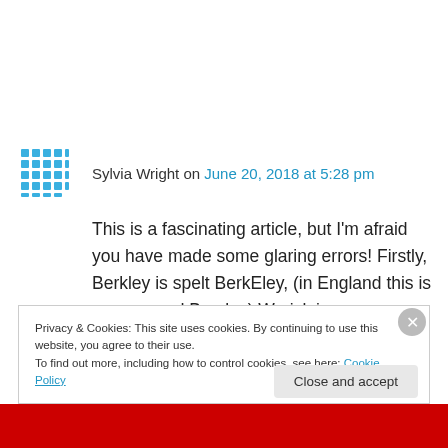Sylvia Wright on June 20, 2018 at 5:28 pm
This is a fascinating article, but I'm afraid you have made some glaring errors! Firstly, Berkley is spelt BerkEley, (in England this is pronounced Barclay) Warick is wrong as the town is spelt Warwick, there is no such place as Leichesterchire, I think you must mean
Privacy & Cookies: This site uses cookies. By continuing to use this website, you agree to their use.
To find out more, including how to control cookies, see here: Cookie Policy
Close and accept